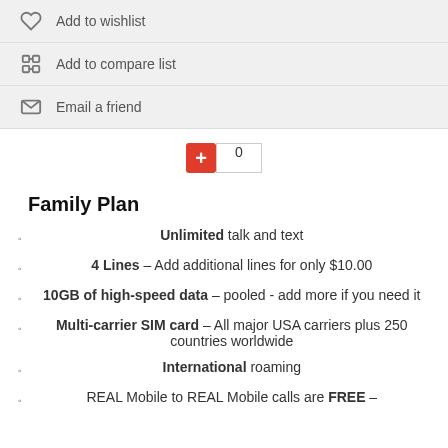Add to wishlist
Add to compare list
Email a friend
Family Plan
Unlimited talk and text
4 Lines – Add additional lines for only $10.00
10GB of high-speed data – pooled - add more if you need it
Multi-carrier SIM card – All major USA carriers plus 250 countries worldwide
International roaming
REAL Mobile to REAL Mobile calls are FREE –